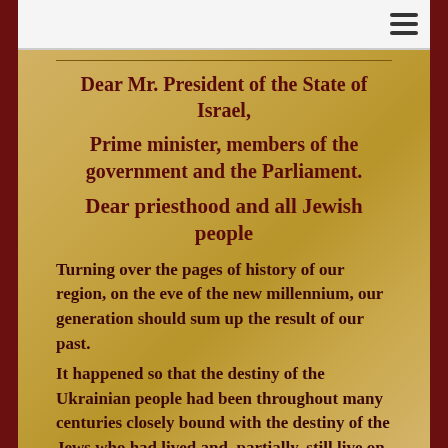Dear Mr. President of the State of Israel,
Prime minister, members of the government and the Parliament.
Dear priesthood and all Jewish people
Turning over the pages of history of our region, on the eve of the new millennium, our generation should sum up the result of our past.
It happened so that the destiny of the Ukrainian people had been throughout many centuries closely bound with the destiny of the Jews who had lived and, partially, still live on our lands. Together we had to share grief and joy, wars and